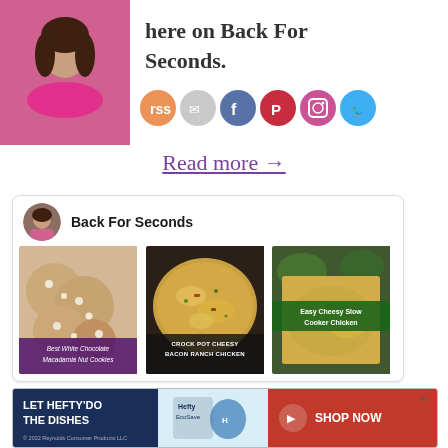[Figure (photo): Person photo on left with social media icons (RSS, email, Facebook, Pinterest, Instagram, Twitter) and text 'here on Back For Seconds.' on the right]
Read more →
[Figure (infographic): Social media card for 'Back For Seconds' with profile avatar and three food photos: Best White Chocolate Macadamia Nut Cookies, Crock Pot Cheesy Bacon Ranch Chicken, Easy Cheesy Slow Cooker Chicken]
[Figure (photo): Advertisement banner: LET HEFTY DO THE DISHES with Hefty EcoSave product and SHOP NOW button, © 2022 Reynolds Consumer Products LLC]